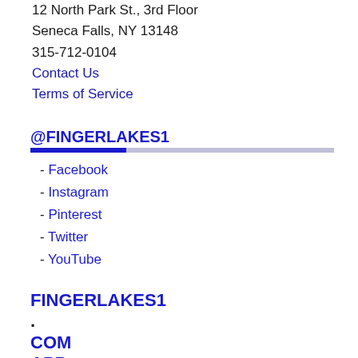12 North Park St., 3rd Floor
Seneca Falls, NY 13148
315-712-0104
Contact Us
Terms of Service
@FINGERLAKES1
- Facebook
- Instagram
- Pinterest
- Twitter
- YouTube
FINGERLAKES1
.
COM
APP